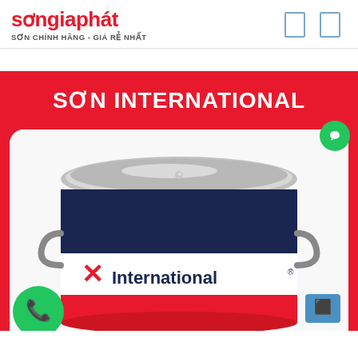sơngiaphát — SƠN CHÍNH HÃNG - GIÁ RẺ NHẤT
SƠN INTERNATIONAL
[Figure (photo): Paint can with International brand label showing red, white, and navy blue colors with metallic lid]